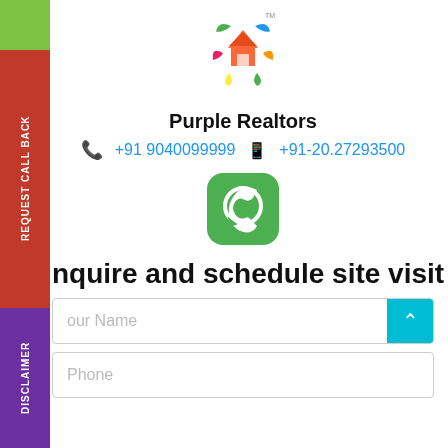[Figure (logo): Purple Realtors colorful star/house logo with TM mark]
Purple Realtors
+91 9040099999   +91-20.27293500
[Figure (logo): WhatsApp green rounded square button icon]
Enquire and schedule site visit
Your Name
Phone
REQUEST CALL BACK
DISCLAIMER